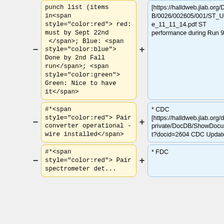|  | Change |  | Reference |
| --- | --- | --- | --- |
| - | punch list (items in<span style="color:red"> red: must by Sept 22nd </span>; Blue: <span style="color:blue"> Done by 2nd Fall run</span>; <span style="color:green"> Green: Nice to have it</span> | + | [https://halldweb.jlab.org/DocDB/0026/002605/001/ST_Update_11_11_14.pdf ST performance during Run 995] |
| - | #*<span style="color:red"> Pair converter operational - wire installed</span> | + | * CDC [https://halldweb.jlab.org/doc-private/DocDB/ShowDocument?docid=2604 CDC Update] |
| - | #*<span style="color:red"> Pair spectrometer det... | + | * FDC |